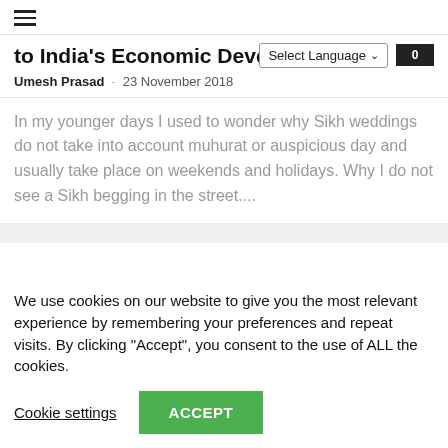☰
to India's Economic Development
Umesh Prasad · 23 November 2018
In my younger days I used to wonder why Sikh weddings do not take into account muhurat or auspicious day and usually take place on weekends and holidays. Why I do not see a Sikh begging in the street....
We use cookies on our website to give you the most relevant experience by remembering your preferences and repeat visits. By clicking "Accept", you consent to the use of ALL the cookies.
Cookie settings
ACCEPT